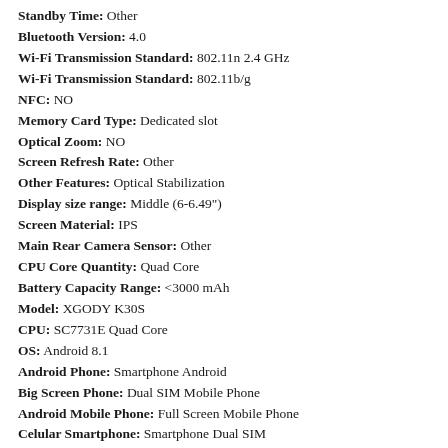Standby Time: Other
Bluetooth Version: 4.0
Wi-Fi Transmission Standard: 802.11n 2.4 GHz
Wi-Fi Transmission Standard: 802.11b/g
NFC: NO
Memory Card Type: Dedicated slot
Optical Zoom: NO
Screen Refresh Rate: Other
Other Features: Optical Stabilization
Display size range: Middle (6-6.49")
Screen Material: IPS
Main Rear Camera Sensor: Other
CPU Core Quantity: Quad Core
Battery Capacity Range: <3000 mAh
Model: XGODY K30S
CPU: SC7731E Quad Core
OS: Android 8.1
Android Phone: Smartphone Android
Big Screen Phone: Dual SIM Mobile Phone
Android Mobile Phone: Full Screen Mobile Phone
Celular Smartphone: Smartphone Dual SIM